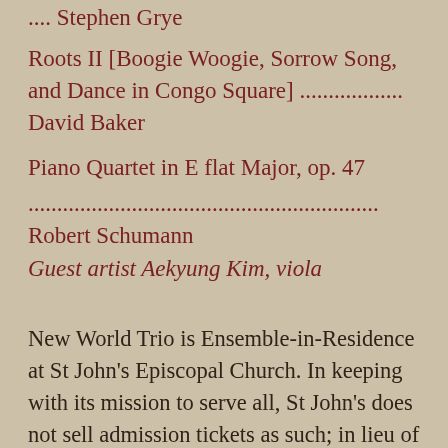.... Stephen Grye
Roots II [Boogie Woogie, Sorrow Song, and Dance in Congo Square] .................. David Baker
Piano Quartet in E flat Major, op. 47
............................................................. Robert Schumann
Guest artist Aekyung Kim, viola
New World Trio is Ensemble-in-Residence at St John's Episcopal Church. In keeping with its mission to serve all, St John's does not sell admission tickets as such; in lieu of ticket sales, ... ... to donations to New World ...